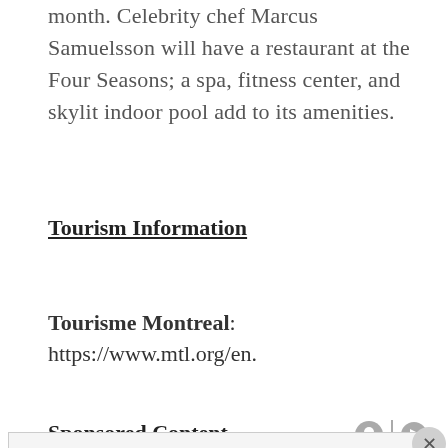month. Celebrity chef Marcus Samuelsson will have a restaurant at the Four Seasons; a spa, fitness center, and skylit indoor pool add to its amenities.
Tourism Information
Tourisme Montreal: https://www.mtl.org/en.
Sponsored Content
Privacy & Cookies: This site uses cookies. By continuing to use this website, you agree to their use.
To find out more, including how to control cookies, see here: Cookie Policy